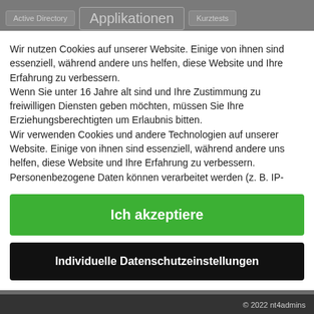[Figure (screenshot): Website navigation bar background with tabs: Active Directory, Applikationen, Kurztests]
Wir nutzen Cookies auf unserer Website. Einige von ihnen sind essenziell, während andere uns helfen, diese Website und Ihre Erfahrung zu verbessern.
Wenn Sie unter 16 Jahre alt sind und Ihre Zustimmung zu freiwilligen Diensten geben möchten, müssen Sie Ihre Erziehungsberechtigten um Erlaubnis bitten.
Wir verwenden Cookies und andere Technologien auf unserer Website. Einige von ihnen sind essenziell, während andere uns helfen, diese Website und Ihre Erfahrung zu verbessern. Personenbezogene Daten können verarbeitet werden (z. B. IP-Adressen) z. B. für personalisierte Anzeigen und Inhalte oder
Ich akzeptiere
Individuelle Datenschutzeinstellungen
© 2022 nt4admins